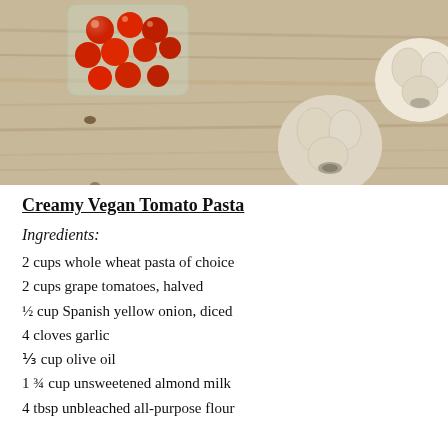[Figure (photo): Overhead view of cherry tomatoes in a plastic container, two heads of garlic on a rustic wooden surface with visible wood grain]
Creamy Vegan Tomato Pasta
Ingredients:
2 cups whole wheat pasta of choice
2 cups grape tomatoes, halved
½ cup Spanish yellow onion, diced
4 cloves garlic
⅓ cup olive oil
1 ¾ cup unsweetened almond milk
4 tbsp unbleached all-purpose flour